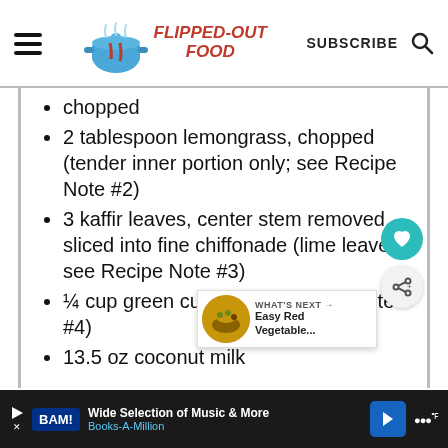FLIPPED-OUT FOOD | SUBSCRIBE
chopped
2 tablespoon lemongrass, chopped (tender inner portion only; see Recipe Note #2)
3 kaffir leaves, center stem removed, sliced into fine chiffonade (lime leaves; see Recipe Note #3)
¼ cup green curry paste Recipe Note #4)
13.5 oz coconut milk
WHAT'S NEXT → Easy Red Vegetable...
Wide Selection of Music & More Books-A-Million